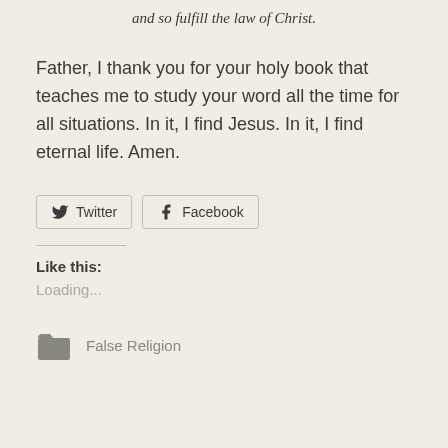and so fulfill the law of Christ.
Father, I thank you for your holy book that teaches me to study your word all the time for all situations. In it, I find Jesus. In it, I find eternal life. Amen.
[Figure (other): Twitter and Facebook share buttons]
Like this:
Loading...
False Religion